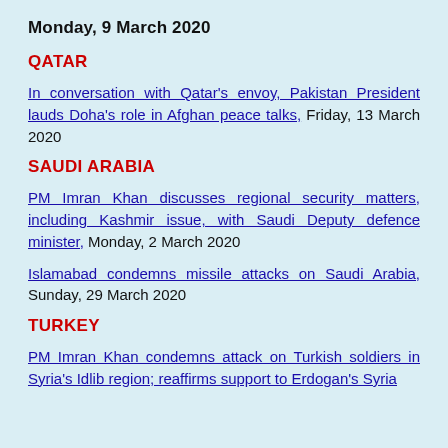Monday, 9 March 2020
QATAR
In conversation with Qatar's envoy, Pakistan President lauds Doha's role in Afghan peace talks,  Friday, 13 March 2020
SAUDI ARABIA
PM Imran Khan discusses regional security matters, including Kashmir issue, with Saudi Deputy defence minister, Monday, 2 March 2020
Islamabad condemns missile attacks on Saudi Arabia, Sunday, 29 March 2020
TURKEY
PM Imran Khan condemns attack on Turkish soldiers in Syria's Idlib region; reaffirms support to Erdogan's Syria...